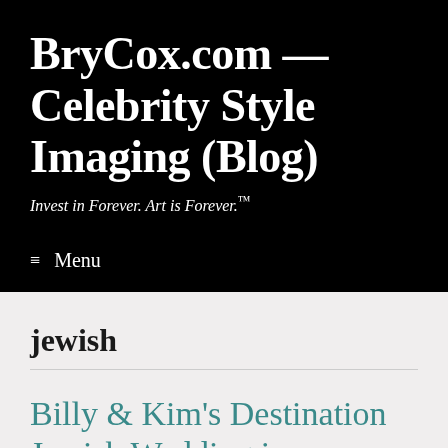BryCox.com — Celebrity Style Imaging (Blog)
Invest in Forever. Art is Forever.™
≡ Menu
jewish
Billy & Kim's Destination Jewish Wedding in Scottsdale, Arizona